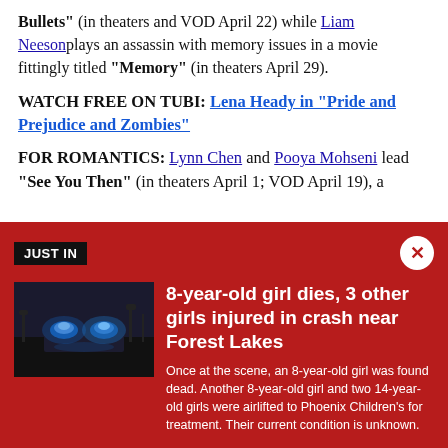Bullets" (in theaters and VOD April 22) while Liam Neeson plays an assassin with memory issues in a movie fittingly titled "Memory" (in theaters April 29).
WATCH FREE ON TUBI: Lena Heady in "Pride and Prejudice and Zombies"
FOR ROMANTICS: Lynn Chen and Pooya Mohseni lead "See You Then" (in theaters April 1; VOD April 19), a
[Figure (photo): Police car with blue flashing lights at night, dark background with bare trees]
8-year-old girl dies, 3 other girls injured in crash near Forest Lakes
Once at the scene, an 8-year-old girl was found dead. Another 8-year-old girl and two 14-year-old girls were airlifted to Phoenix Children's for treatment. Their current condition is unknown.